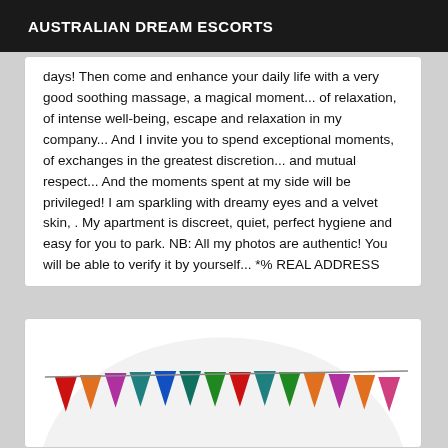AUSTRALIAN DREAM ESCORTS
days! Then come and enhance your daily life with a very good soothing massage, a magical moment... of relaxation, of intense well-being, escape and relaxation in my company... And I invite you to spend exceptional moments, of exchanges in the greatest discretion... and mutual respect... And the moments spent at my side will be privileged! I am sparkling with dreamy eyes and a velvet skin, . My apartment is discreet, quiet, perfect hygiene and easy for you to park. NB: All my photos are authentic! You will be able to verify it by yourself... *% REAL ADDRESS
[Figure (photo): Circular/oval decorative image with colorful triangular bunting flags in red, orange, purple, teal, blue, green, and orange colors arranged in a row along the bottom of a white oval background.]